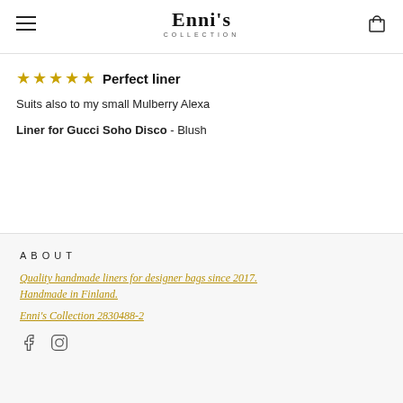Enni's Collection
Perfect liner
Suits also to my small Mulberry Alexa
Liner for Gucci Soho Disco - Blush
ABOUT
Quality handmade liners for designer bags since 2017. Handmade in Finland.
Enni's Collection 2830488-2